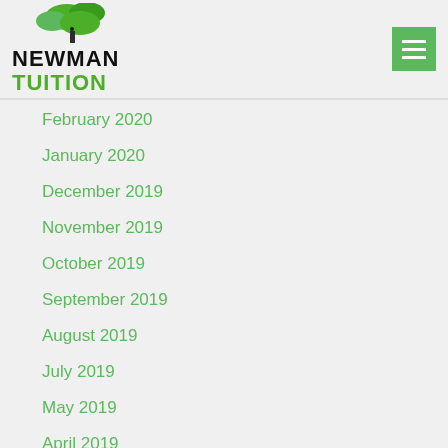NEWMAN TUITION
February 2020
January 2020
December 2019
November 2019
October 2019
September 2019
August 2019
July 2019
May 2019
April 2019
March 2019